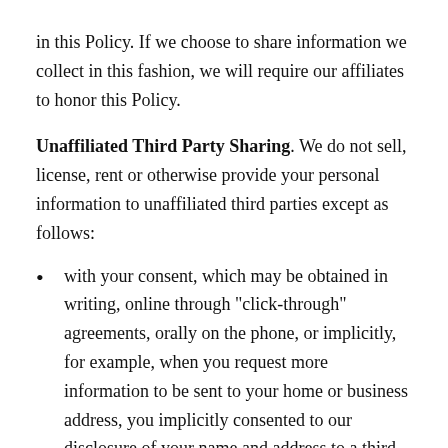in this Policy. If we choose to share information we collect in this fashion, we will require our affiliates to honor this Policy.
Unaffiliated Third Party Sharing. We do not sell, license, rent or otherwise provide your personal information to unaffiliated third parties except as follows:
with your consent, which may be obtained in writing, online through "click-through" agreements, orally on the phone, or implicitly, for example, when you request more information to be sent to your home or business address, you implicitly consented to our disclosure of your name and address to a third party courier to complete delivery;
to our third-party vendors and partners who complete transactions or perform services on our